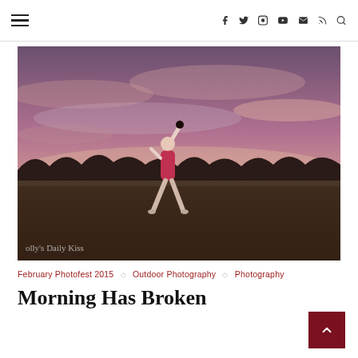≡  f  𝕥  🅘  ▶  ✉  ⊃  🔍
[Figure (photo): A dancer or athlete in a red leotard poses in an open field at dawn/dusk, arm raised high, with a dramatic purple-pink cloudy sky and tree line in the background. Watermark reads "olly's Daily Kiss".]
February Photofest 2015 ◇ Outdoor Photography ◇ Photography
Morning Has Broken